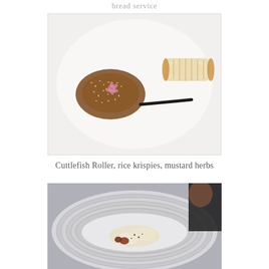bread service
[Figure (photo): A white rectangular plate with a dish featuring what appears to be a cuttlefish roller with rice krispies and a pink flower garnish, alongside a dark sauce stripe and a wrapped roll item]
Cuttlefish Roller, rice krispies, mustard herbs
[Figure (photo): A round ridged white bowl/plate with a food dish featuring what appears to be fish or seafood with light-colored ingredients]